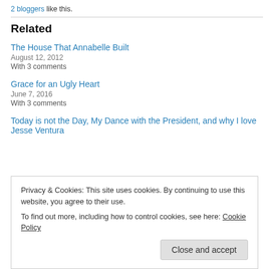2 bloggers like this.
Related
The House That Annabelle Built
August 12, 2012
With 3 comments
Grace for an Ugly Heart
June 7, 2016
With 3 comments
Today is not the Day, My Dance with the President, and why I love Jesse Ventura
Privacy & Cookies: This site uses cookies. By continuing to use this website, you agree to their use.
To find out more, including how to control cookies, see here: Cookie Policy
Close and accept